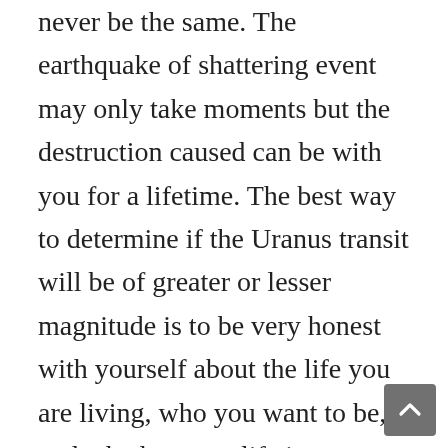never be the same. The earthquake of shattering event may only take moments but the destruction caused can be with you for a lifetime. The best way to determine if the Uranus transit will be of greater or lesser magnitude is to be very honest with yourself about the life you are living, who you want to be, and whether your life is a reflection of those truths.
I call this transit the “nervous breakdown” time. Not that someone will actually have a nervous breakdown but when you are under this influence it is because your system is so sensitive to the